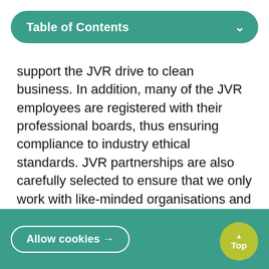Table of Contents
support the JVR drive to clean business. In addition, many of the JVR employees are registered with their professional boards, thus ensuring compliance to industry ethical standards. JVR partnerships are also carefully selected to ensure that we only work with like-minded organisations and individuals who have zero tolerance for bribery and corruption.

JVR employees are not allowed to
Allow cookies →